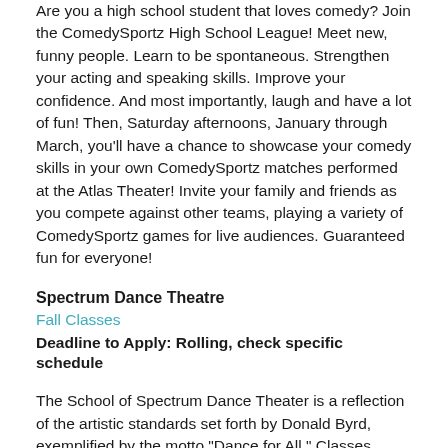Are you a high school student that loves comedy? Join the ComedySportz High School League! Meet new, funny people. Learn to be spontaneous. Strengthen your acting and speaking skills. Improve your confidence. And most importantly, laugh and have a lot of fun! Then, Saturday afternoons, January through March, you'll have a chance to showcase your comedy skills in your own ComedySportz matches performed at the Atlas Theater! Invite your family and friends as you compete against other teams, playing a variety of ComedySportz games for live audiences. Guaranteed fun for everyone!
Spectrum Dance Theatre
Fall Classes
Deadline to Apply: Rolling, check specific schedule
The School of Spectrum Dance Theater is a reflection of the artistic standards set forth by Donald Byrd, exemplified by the motto "Dance for All." Classes offered